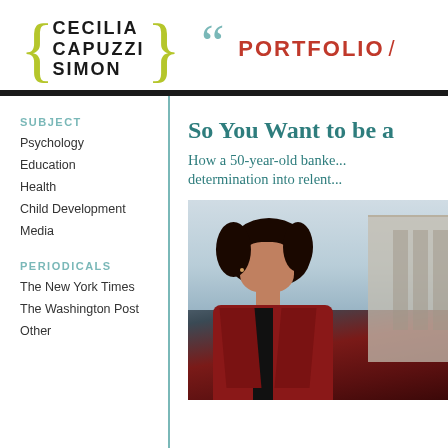CECILIA CAPUZZI SIMON — PORTFOLIO /
SUBJECT
Psychology
Education
Health
Child Development
Media
PERIODICALS
The New York Times
The Washington Post
Other
So You Want to be a
How a 50-year-old banke... determination into relent...
[Figure (photo): A woman with curly dark hair wearing a dark red jacket, looking upward, with a building in the background.]